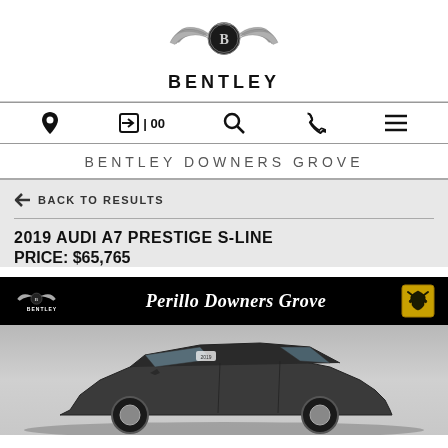[Figure (logo): Bentley wings logo with central 'B' emblem and BENTLEY text below]
BENTLEY DOWNERS GROVE
← BACK TO RESULTS
2019 AUDI A7 PRESTIGE S-LINE
PRICE: $65,765
[Figure (photo): Perillo Downers Grove dealer banner with Bentley and Lamborghini logos, and a 2019 Audi A7 in dark gray photographed in a studio setting]